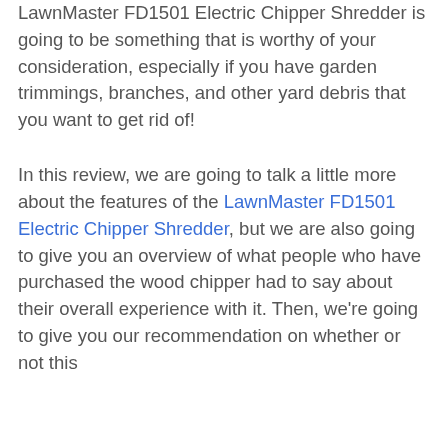LawnMaster FD1501 Electric Chipper Shredder is going to be something that is worthy of your consideration, especially if you have garden trimmings, branches, and other yard debris that you want to get rid of!
In this review, we are going to talk a little more about the features of the LawnMaster FD1501 Electric Chipper Shredder, but we are also going to give you an overview of what people who have purchased the wood chipper had to say about their overall experience with it. Then, we're going to give you our recommendation on whether or not this